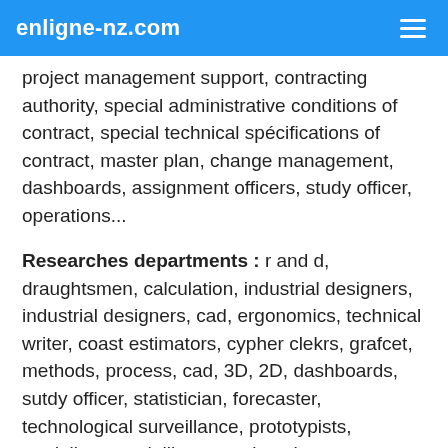enligne-nz.com
project management support, contracting authority, special administrative conditions of contract, special technical spécifications of contract, master plan, change management, dashboards, assignment officers, study officer, operations...
Researches departments : r and d, draughtsmen, calculation, industrial designers, industrial designers, cad, ergonomics, technical writer, coast estimators, cypher clekrs, grafcet, methods, process, cad, 3D, 2D, dashboards, sutdy officer, statistician, forecaster, technological surveillance, prototypists, modellers, modelling, tests benches, spectroscopy, nanotechnologies, acoustician, optical...